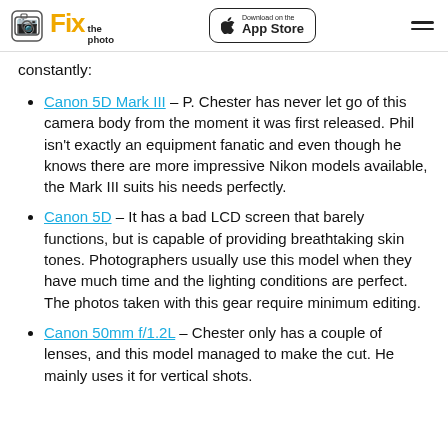Fix the photo | Download on the App Store
constantly:
Canon 5D Mark III – P. Chester has never let go of this camera body from the moment it was first released. Phil isn't exactly an equipment fanatic and even though he knows there are more impressive Nikon models available, the Mark III suits his needs perfectly.
Canon 5D – It has a bad LCD screen that barely functions, but is capable of providing breathtaking skin tones. Photographers usually use this model when they have much time and the lighting conditions are perfect. The photos taken with this gear require minimum editing.
Canon 50mm f/1.2L – Chester only has a couple of lenses, and this model managed to make the cut. He mainly uses it for vertical shots.